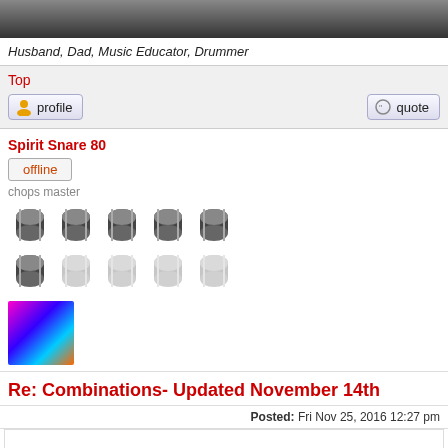[Figure (photo): Dark gradient image bar at top of page]
Husband, Dad, Music Educator, Drummer
Top
[Figure (other): Profile button with user icon]
[Figure (other): Quote button with speech bubble icon]
Spirit Snare 80
offline
chops master
[Figure (other): Rank icons: 5 active drum icons on top row, 1 active and 4 faded on bottom row]
[Figure (photo): Avatar image with colorful drums/stage lighting]
Re: Combinations- Updated November 14th
Posted: Fri Nov 25, 2016 12:27 pm